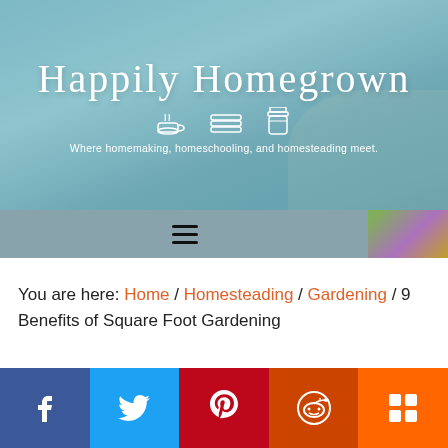[Figure (photo): Happily Homegrown website header banner with blue-gray background, handwritten-style white script logo text 'Happily Homegrown', icons of a coffee cup, stack of books/pancakes, and mason jar, and tagline 'Where homemaking, homeschooling, and homesteading meet.']
[Figure (screenshot): Navigation bar with hamburger menu icon (three horizontal lines) on a semi-transparent blue-gray background; colorful flower visible at right edge.]
You are here: Home / Homesteading / Gardening / 9 Benefits of Square Foot Gardening
[Figure (infographic): Social media share bar at bottom with five colored buttons: Facebook (dark blue, f icon), Twitter (light blue, bird icon), Pinterest (red, P icon), Reddit (dark orange, alien icon), Mix (orange, m icon)]